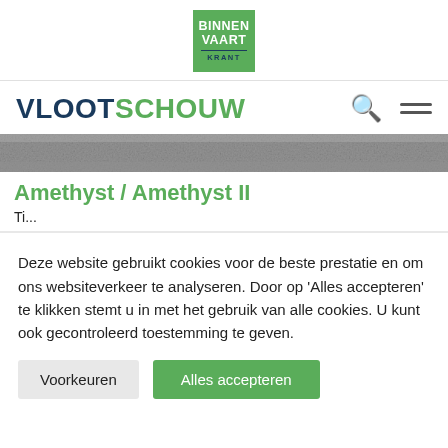[Figure (logo): Binnenvaart Krant logo: green square with white bold text BINNEN VAART and dark blue text KRANT]
VLOOTSCHOUW
[Figure (photo): Grayscale water/wave texture strip]
Amethyst / Amethyst II
Deze website gebruikt cookies voor de beste prestatie en om ons websiteverkeer te analyseren. Door op 'Alles accepteren' te klikken stemt u in met het gebruik van alle cookies. U kunt ook gecontroleerd toestemming te geven.
Voorkeuren | Alles accepteren